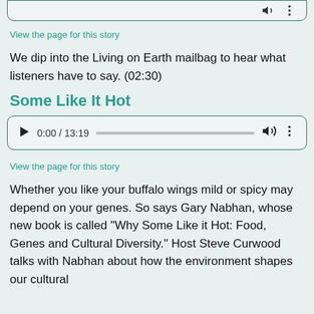[Figure (other): Audio player stub (top, partially visible) with volume and more icons]
View the page for this story
We dip into the Living on Earth mailbag to hear what listeners have to say. (02:30)
Some Like It Hot
[Figure (other): Audio player showing 0:00 / 13:19 with play button, progress bar, volume and more icons]
View the page for this story
Whether you like your buffalo wings mild or spicy may depend on your genes. So says Gary Nabhan, whose new book is called "Why Some Like it Hot: Food, Genes and Cultural Diversity." Host Steve Curwood talks with Nabhan about how the environment shapes our cultural